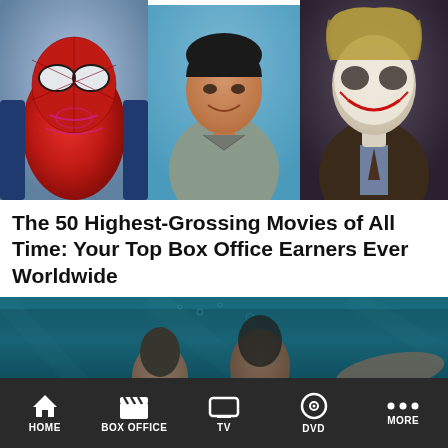[Figure (photo): Three movie stills side by side: Spider-Man in red/blue suit on left, Tom Cruise smiling in a flight suit in center, The Joker with face paint and dark hair on right]
The 50 Highest-Grossing Movies of All Time: Your Top Box Office Earners Ever Worldwide
[Figure (photo): Movie still showing a person underwater in a teal/blue underwater scene]
HOME | BOX OFFICE | TV | DVD | MORE